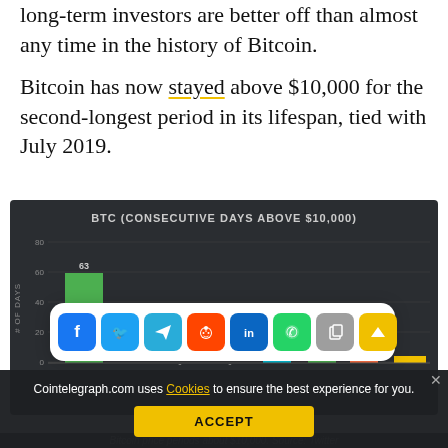long-term investors are better off than almost any time in the history of Bitcoin.
Bitcoin has now stayed above $10,000 for the second-longest period in its lifespan, tied with July 2019.
[Figure (bar-chart): Bar chart showing Bitcoin consecutive days above $10,000 by period. The tallest visible bar shows 63 days in green. Several other bars are partially visible. Chart background is dark gray.]
[Figure (infographic): Social media share buttons overlay: Facebook (blue), Twitter (blue), Telegram (blue), Reddit (orange-red), LinkedIn (blue), WhatsApp (green), Copy (gray), Scroll-up (yellow-gold)]
Cointelegraph.com uses Cookies to ensure the best experience for you.
ACCEPT
Bitcoin price periods about $10,000. Source: Twitter